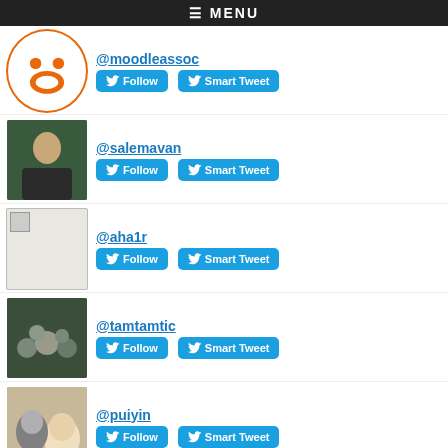≡ MENU
@moodleassoc
@salemavan
@aha1r
@tamtamtic
@puiyin
@jmdh22
Top Replied-To in G3:
@norbert_forster